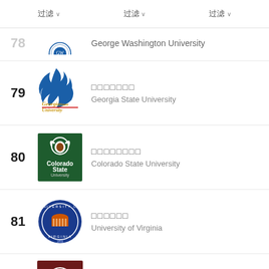过滤  过滤  过滤
78 (partial) - George Washington University
79 - □□□□□□□ - Georgia State University
80 - □□□□□□□□ - Colorado State University
81 - □□□□□□ - University of Virginia
82 - □□□□□ - University of Georgia